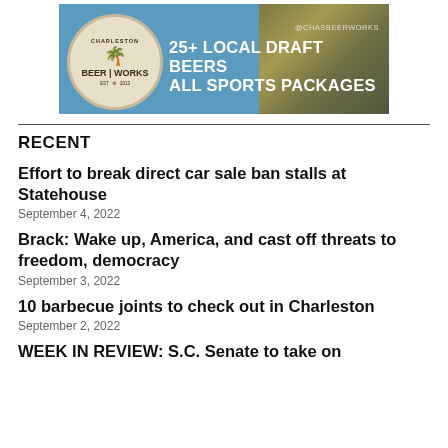[Figure (photo): Charleston Beer Works advertisement banner showing beer glasses and a hat in the background, with the Beer Works circular logo on the left and text '25+ LOCAL DRAFT BEERS ALL SPORTS PACKAGES' on the right, with @CHASBEERWORKS handle]
RECENT
Effort to break direct car sale ban stalls at Statehouse
September 4, 2022
Brack: Wake up, America, and cast off threats to freedom, democracy
September 3, 2022
10 barbecue joints to check out in Charleston
September 2, 2022
WEEK IN REVIEW: S.C. Senate to take on...